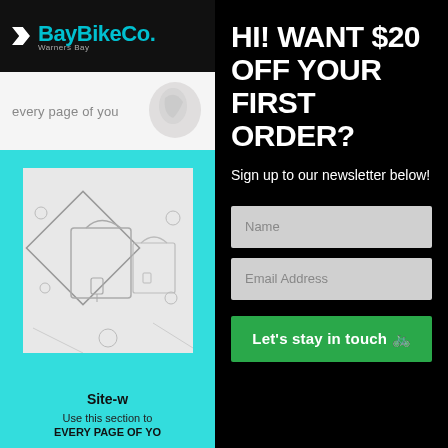[Figure (screenshot): BayBikeCo logo on black header bar with teal text and white icon]
every page of you
[Figure (illustration): Line sketch of bags and accessories on a grey background inside a teal section]
Site-w
Use this section to
HI! WANT $20 OFF YOUR FIRST ORDER?
Sign up to our newsletter below!
Name
Email Address
Let's stay in touch 🚲